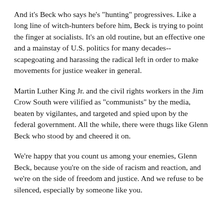And it's Beck who says he's "hunting" progressives. Like a long line of witch-hunters before him, Beck is trying to point the finger at socialists. It's an old routine, but an effective one and a mainstay of U.S. politics for many decades--scapegoating and harassing the radical left in order to make movements for justice weaker in general.
Martin Luther King Jr. and the civil rights workers in the Jim Crow South were vilified as "communists" by the media, beaten by vigilantes, and targeted and spied upon by the federal government. All the while, there were thugs like Glenn Beck who stood by and cheered it on.
We're happy that you count us among your enemies, Glenn Beck, because you're on the side of racism and reaction, and we're on the side of freedom and justice. And we refuse to be silenced, especially by someone like you.